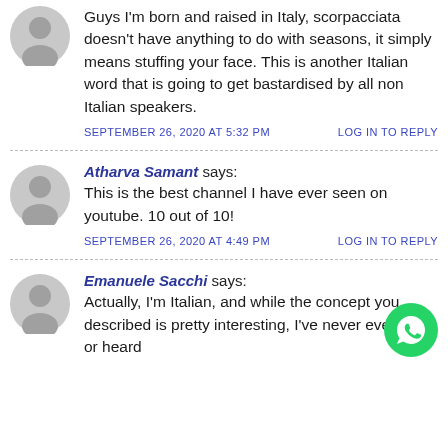Guys I'm born and raised in Italy, scorpacciata doesn't have anything to do with seasons, it simply means stuffing your face. This is another Italian word that is going to get bastardised by all non Italian speakers.
SEPTEMBER 26, 2020 AT 5:32 PM   LOG IN TO REPLY
Atharva Samant says: This is the best channel I have ever seen on youtube. 10 out of 10!
SEPTEMBER 26, 2020 AT 4:49 PM   LOG IN TO REPLY
Emanuele Sacchi says: Actually, I'm Italian, and while the concept you described is pretty interesting, I've never ever used or heard